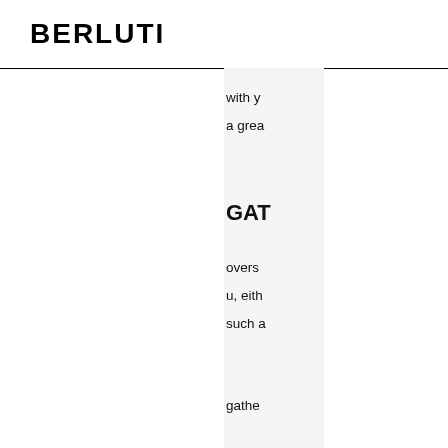BERLUTI
with y
a grea
GAT
overs
u, eith
such a
gathe
is;
nder,
erenc